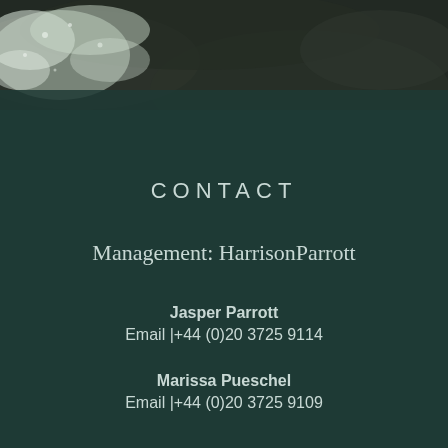[Figure (photo): Aerial/overhead view of dark rocky terrain with white water or foam, high contrast nature photo in black and white tones]
CONTACT
Management: HarrisonParrott
Jasper Parrott
Email |+44 (0)20 3725 9114
Marissa Pueschel
Email |+44 (0)20 3725 9109